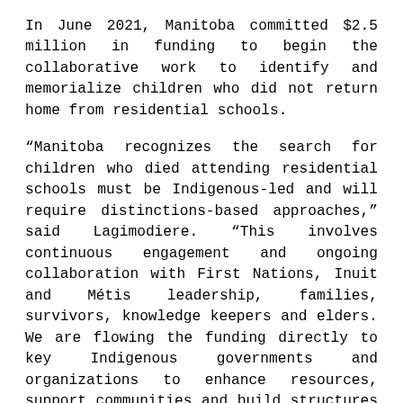In June 2021, Manitoba committed $2.5 million in funding to begin the collaborative work to identify and memorialize children who did not return home from residential schools.
“Manitoba recognizes the search for children who died attending residential schools must be Indigenous-led and will require distinctions-based approaches,” said Lagimodiere. “This involves continuous engagement and ongoing collaboration with First Nations, Inuit and Métis leadership, families, survivors, knowledge keepers and elders. We are flowing the funding directly to key Indigenous governments and organizations to enhance resources, support communities and build structures that prioritize families and survivors at the heart of this work. This approach will strengthen community efforts as they lead their own processes.”